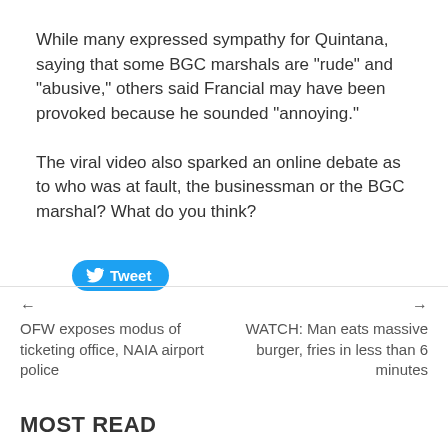While many expressed sympathy for Quintana, saying that some BGC marshals are "rude" and "abusive," others said Francial may have been provoked because he sounded "annoying."
The viral video also sparked an online debate as to who was at fault, the businessman or the BGC marshal? What do you think?
[Figure (other): Tweet button with Twitter bird logo]
← OFW exposes modus of ticketing office, NAIA airport police
→ WATCH: Man eats massive burger, fries in less than 6 minutes
MOST READ